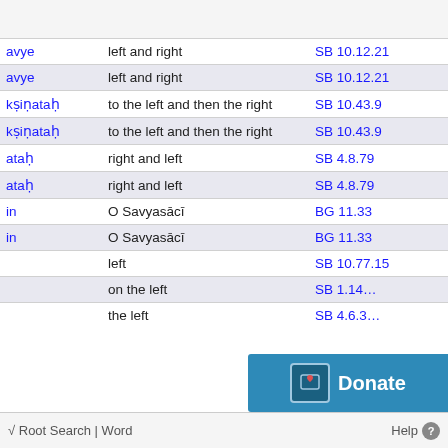| Word | Meaning | Reference |
| --- | --- | --- |
| avye | left and right | SB 10.12.21 |
| avye | left and right | SB 10.12.21 |
| kṣiṇataḥ | to the left and then the right | SB 10.43.9 |
| kṣiṇataḥ | to the left and then the right | SB 10.43.9 |
| ataḥ | right and left | SB 4.8.79 |
| ataḥ | right and left | SB 4.8.79 |
| in | O Savyasācī | BG 11.33 |
| in | O Savyasācī | BG 11.33 |
|  | left | SB 10.77.15 |
|  | on the left | SB 1.14… |
|  | the left | SB 4.6.3… |
√ Root Search | Word    Help